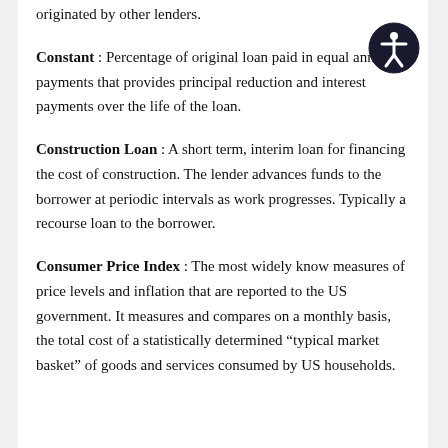originated by other lenders.
Constant : Percentage of original loan paid in equal annual payments that provides principal reduction and interest payments over the life of the loan.
Construction Loan : A short term, interim loan for financing the cost of construction. The lender advances funds to the borrower at periodic intervals as work progresses. Typically a recourse loan to the borrower.
Consumer Price Index : The most widely know measures of price levels and inflation that are reported to the US government. It measures and compares on a monthly basis, the total cost of a statistically determined “typical market basket” of goods and services consumed by US households.